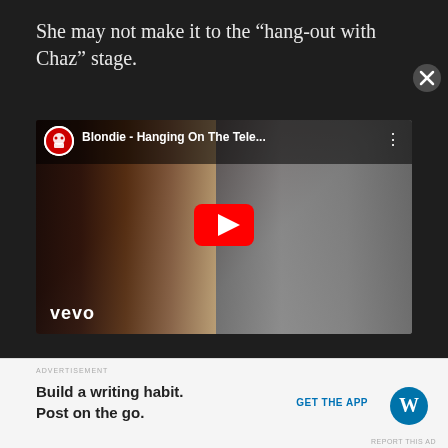She may not make it to the “hang-out with Chaz” stage.
[Figure (screenshot): YouTube video embed showing Blondie - Hanging On The Tele... with Vevo branding. A blonde woman is visible on the left and a guitarist in black on the right. Red YouTube play button in center.]
ADVERTISEMENT
Build a writing habit.
Post on the go.
GET THE APP
REPORT THIS AD